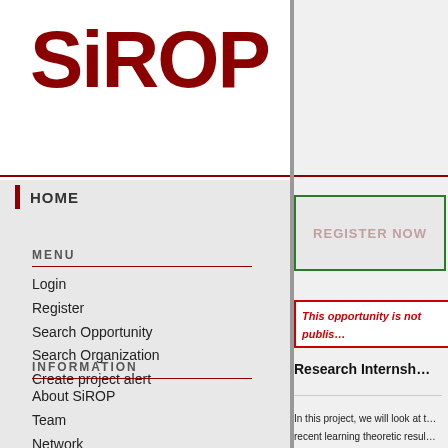SiROP
HOME
MENU
Login
Register
Search Opportunity
Search Organization
Create project alert
INFORMATION
About SiROP
Team
Network
Partners
Imprint
Terms & conditions
REGISTER NOW
This opportunity is not publis…
Research Internsh…
In this project, we will look at t… recent learning theoretic resul… minimal coding. The applicant… able to read and understand p… required to be knowledgable a… Keywords: Privacy, Fairness,…